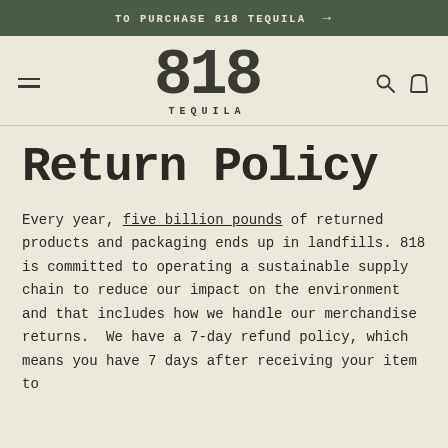TO PURCHASE 818 TEQUILA →
[Figure (logo): 818 TEQUILA logo with large bold numerals and TEQUILA text below]
Return Policy
Every year, five billion pounds of returned products and packaging ends up in landfills. 818 is committed to operating a sustainable supply chain to reduce our impact on the environment and that includes how we handle our merchandise returns. We have a 7-day refund policy, which means you have 7 days after receiving your item to